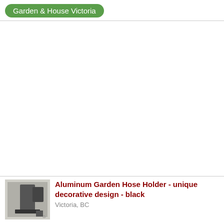Garden & House Victoria
[Figure (photo): Small thumbnail photo of an aluminum garden hose holder, black, mounted on wall]
Aluminum Garden Hose Holder - unique decorative design - black
Victoria, BC
Brand new. Round shape/design with decoration in the middle. The outside circle piece is 12 inches in diameter. Very...
Garden & House Victoria
Large rubber tree